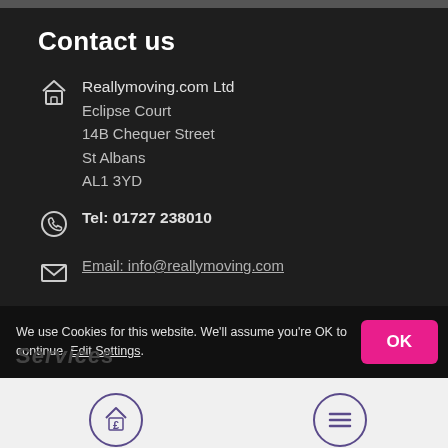Contact us
Reallymoving.com Ltd
Eclipse Court
14B Chequer Street
St Albans
AL1 3YD
Tel: 01727 238010
Email: info@reallymoving.com
We use Cookies for this website. We'll assume you're OK to continue. Edit Settings.
Services
Get Quotes
Menu